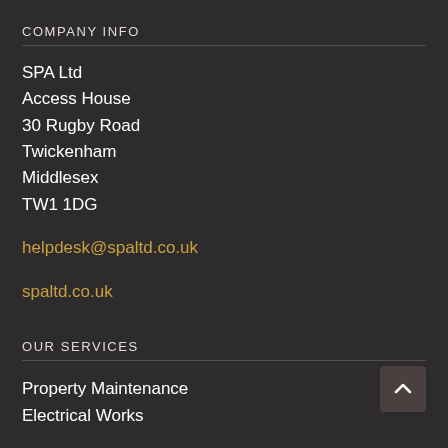COMPANY INFO
SPA Ltd
Access House
30 Rugby Road
Twickenham
Middlesex
TW1 1DG
helpdesk@spaltd.co.uk
spaltd.co.uk
OUR SERVICES
Property Maintenance
Electrical Works